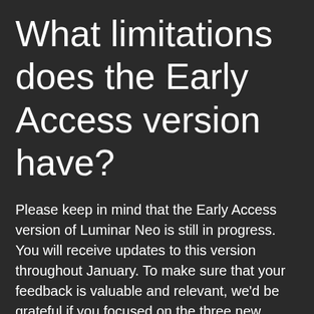What limitations does the Early Access version have?
Please keep in mind that the Early Access version of Luminar Neo is still in progress. You will receive updates to this version throughout January. To make sure that your feedback is valuable and relevant, we'd be grateful if you focused on the three new features and kept in mind that some functionality is absent and will be added later in the main release.